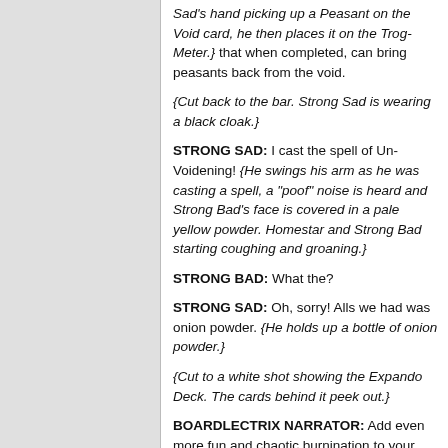Sad's hand picking up a Peasant on the Void card, he then places it on the Trog-Meter.} that when completed, can bring peasants back from the void.
{Cut back to the bar. Strong Sad is wearing a black cloak.}
STRONG SAD: I cast the spell of Un-Voidening! {He swings his arm as he was casting a spell, a "poof" noise is heard and Strong Bad's face is covered in a pale yellow powder. Homestar and Strong Bad starting coughing and groaning.}
STRONG BAD: What the?
STRONG SAD: Oh, sorry! Alls we had was onion powder. {He holds up a bottle of onion powder.}
{Cut to a white shot showing the Expando Deck. The cards behind it peek out.}
BOARDLECTRIX NARRATOR: Add even more fun and chaotic burnination to your